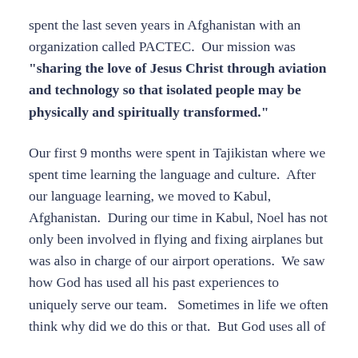spent the last seven years in Afghanistan with an organization called PACTEC.  Our mission was "sharing the love of Jesus Christ through aviation and technology so that isolated people may be physically and spiritually transformed."
Our first 9 months were spent in Tajikistan where we spent time learning the language and culture.  After our language learning, we moved to Kabul, Afghanistan.  During our time in Kabul, Noel has not only been involved in flying and fixing airplanes but was also in charge of our airport operations.  We saw how God has used all his past experiences to uniquely serve our team.   Sometimes in life we often think why did we do this or that.  But God uses all of